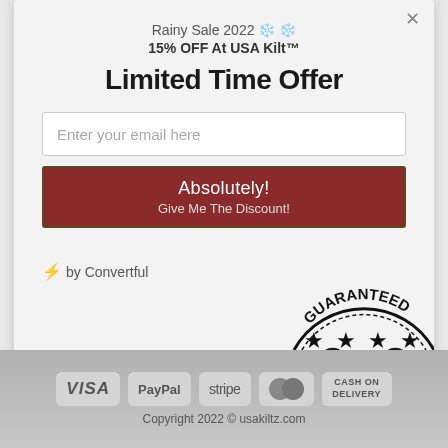Rainy Sale 2022 ❄️ ❄️
15% OFF At USA Kilt™
Limited Time Offer
Enter your email here
Absolutely!
Give Me The Discount!
[Figure (illustration): Guarantee stamp with stars and text GUARANTEED]
⚡ by Convertful
[Figure (logo): Payment logos: VISA, PayPal, stripe, MasterCard, CASH ON DELIVERY]
Copyright 2022 © usakiltz.com